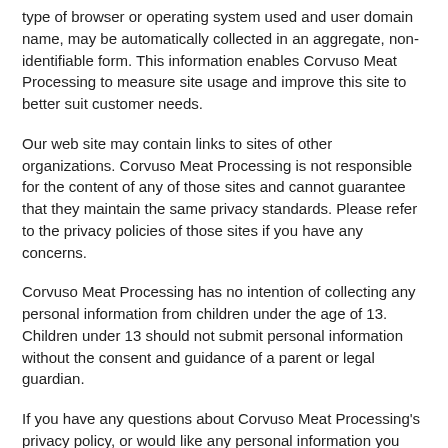type of browser or operating system used and user domain name, may be automatically collected in an aggregate, non-identifiable form. This information enables Corvuso Meat Processing to measure site usage and improve this site to better suit customer needs.
Our web site may contain links to sites of other organizations. Corvuso Meat Processing is not responsible for the content of any of those sites and cannot guarantee that they maintain the same privacy standards. Please refer to the privacy policies of those sites if you have any concerns.
Corvuso Meat Processing has no intention of collecting any personal information from children under the age of 13. Children under 13 should not submit personal information without the consent and guidance of a parent or legal guardian.
If you have any questions about Corvuso Meat Processing's privacy policy, or would like any personal information you have submitted through this site to be modified or removed, please submit your request on our Contact Us page.